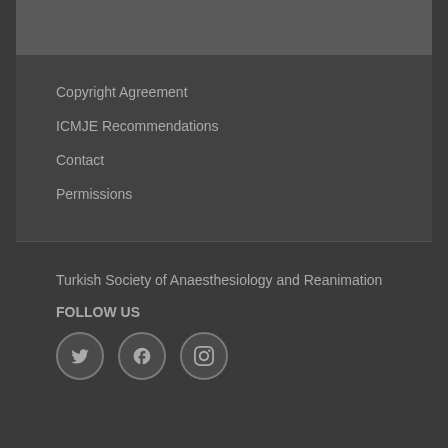Copyright Agreement
ICMJE Recommendations
Contact
Permissions
Turkish Society of Anaesthesiology and Reanimation
FOLLOW US